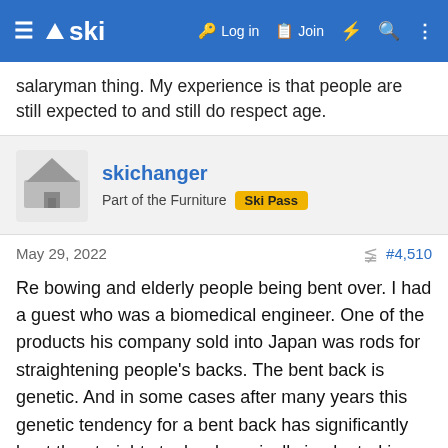ski — Log in  Join
salaryman thing. My experience is that people are still expected to and still do respect age.
skichanger
Part of the Furniture  Ski Pass
May 29, 2022  #4,510
Re bowing and elderly people being bent over. I had a guest who was a biomedical engineer. One of the products his company sold into Japan was rods for straightening people's backs. The bent back is genetic. And in some cases after many years this genetic tendency for a bent back has significantly bent the straight steel rod surgically implanted in people's backs.
😲 skifree